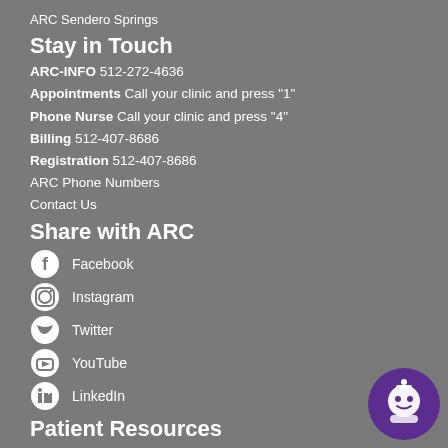ARC Sendero Springs
Stay in Touch
ARC-INFO 512-272-4636
Appointments Call your clinic and press "1"
Phone Nurse Call your clinic and press "4"
Billing 512-407-8686
Registration 512-407-8686
ARC Phone Numbers
Contact Us
Share with ARC
Facebook
Instagram
Twitter
YouTube
LinkedIn
Patient Resources
Make an Appointment
Health Library
[Figure (illustration): Purple circular robot/chatbot icon in bottom right corner]